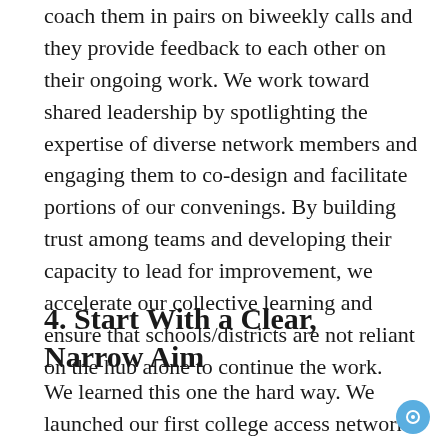coach them in pairs on biweekly calls and they provide feedback to each other on their ongoing work. We work toward shared leadership by spotlighting the expertise of diverse network members and engaging them to co-design and facilitate portions of our convenings. By building trust among teams and developing their capacity to lead for improvement, we accelerate our collective learning and ensure that schools/districts are not reliant on the hub alone to continue the work.
4. Start With a Clear, Narrow Aim
We learned this one the hard way. We launched our first college access network with an aim (o...